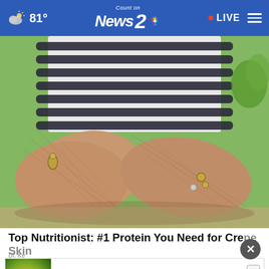81° | Count on News 2 NBC | • LIVE
[Figure (photo): Close-up photo of elderly person's wrinkled arms crossed, wearing striped shirt and bracelet]
Top Nutritionist: #1 Protein You Need for Crepe Skin
Dr. Ke...
[Figure (screenshot): Advertisement banner: Purchasers of certain Roundup®, HDX®, or Ace® brand weed killer may be eligible for a cash payment from a class action settlement. Visit www.WeedKillerAdSettlement.com to learn more.]